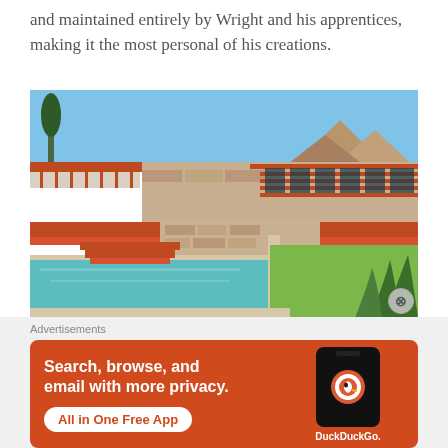and maintained entirely by Wright and his apprentices, making it the most personal of his creations.
[Figure (photo): Exterior photograph of a Frank Lloyd Wright building (Taliesin West) with red-painted horizontal rooflines, stone masonry walls, a swimming pool in the foreground, desert landscaping with agave plants, and a mountain range visible in the background under a clear blue sky.]
Advertisements
[Figure (illustration): DuckDuckGo advertisement banner with orange background. Text reads: 'Search, browse, and email with more privacy. All in One Free App'. Shows a smartphone with the DuckDuckGo logo and brand name.]